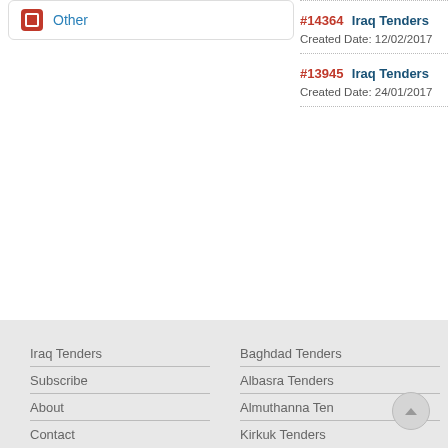Other
#14364 Iraq Tenders
Created Date: 12/02/2017
#13945 Iraq Tenders
Created Date: 24/01/2017
Iraq Tenders
Baghdad Tenders
Subscribe
Albasra Tenders
About
Almuthanna Ten
Contact
Kirkuk Tenders